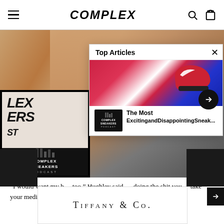COMPLEX
[Figure (photo): Hero image showing men at a podcast recording, with partial text overlay reading 'LEX ERS ST' on left side, and a dark podcast card in bottom left corner]
[Figure (infographic): Top Articles popup overlay showing sneaker images, close button, article thumbnail with title 'The Most ExcitingandDisappointingSneak...' and a right-arrow navigation button]
“I would want my b too,” Hughley said. doing the shit you take your medicine. All that wild shit you were doing that shit
[Figure (logo): Tiffany & Co. advertisement banner]